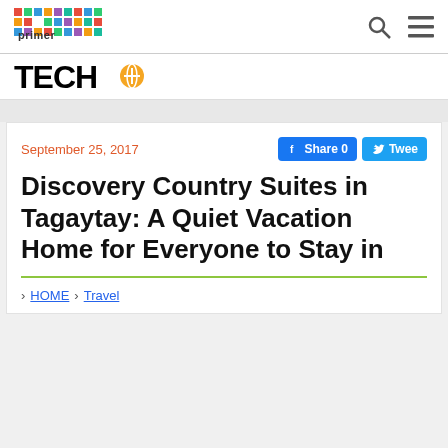[Figure (logo): Primer colorful pixel logo in top left nav bar]
[Figure (logo): TECH logo with orange circle icon]
September 25, 2017
Discovery Country Suites in Tagaytay: A Quiet Vacation Home for Everyone to Stay in
> HOME > Travel